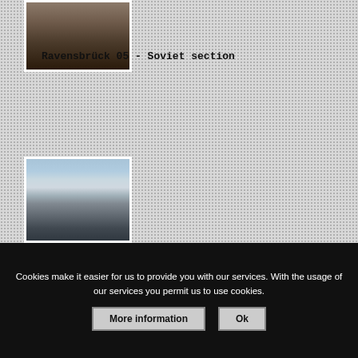[Figure (photo): Partial photo at top showing a brick wall with dark base, historical site]
Ravensbrück 05 - Soviet section
[Figure (photo): Photo of Ravensbrück concentration camp grounds showing long wall, courtyard, cloudy sky]
Cookies make it easier for us to provide you with our services. With the usage of our services you permit us to use cookies.
More information
Ok